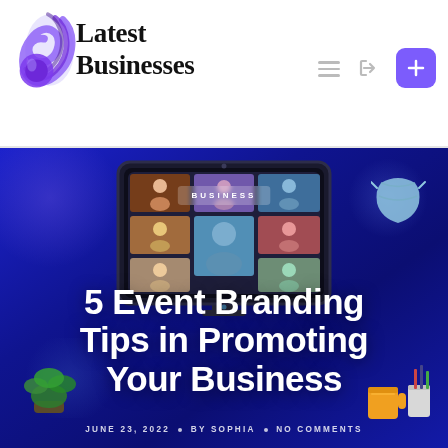[Figure (logo): Latest Businesses logo with purple swirl icon and serif bold text]
Latest Businesses navigation header with hamburger menu, login icon, and purple plus button
[Figure (photo): Hero banner with dark blue background showing a 3D illustration of a computer monitor displaying a video call with multiple participants, surrounded by office items. Text overlay reads 'BUSINESS' category tag.]
5 Event Branding Tips in Promoting Your Business
JUNE 23, 2022 • BY SOPHIA • NO COMMENTS